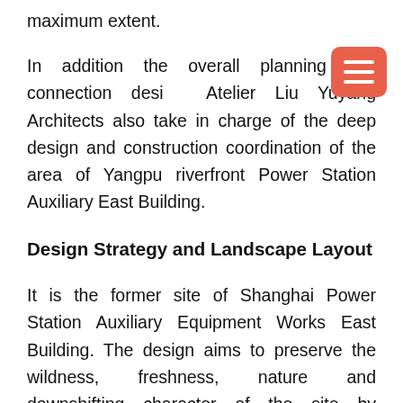maximum extent.
In addition the overall planning and connection design, Atelier Liu Yuyang Architects also take in charge of the deep design and construction coordination of the area of Yangpu riverfront Power Station Auxiliary East Building.
Design Strategy and Landscape Layout
It is the former site of Shanghai Power Station Auxiliary Equipment Works East Building. The design aims to preserve the wildness, freshness, nature and downshifting character of the site by adopting the concept of limited disturbance. The existing camphor trees are retained and one of the former warehouses is transformed into an open Pavilion of Symbiosis. The design also takes into consideration the historical texture of the site, which became part of a relation